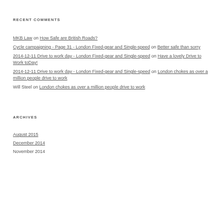RECENT COMMENTS
MKB Law on How Safe are British Roads?
Cycle campaigning - Page 31 - London Fixed-gear and Single-speed on Better safe than sorry
2014-12-11 Drive to work day - London Fixed-gear and Single-speed on Have a lovely Drive to Work toDay!
2014-12-11 Drive to work day - London Fixed-gear and Single-speed on London chokes as over a million people drive to work
Will Steel on London chokes as over a million people drive to work
ARCHIVES
August 2015
December 2014
November 2014